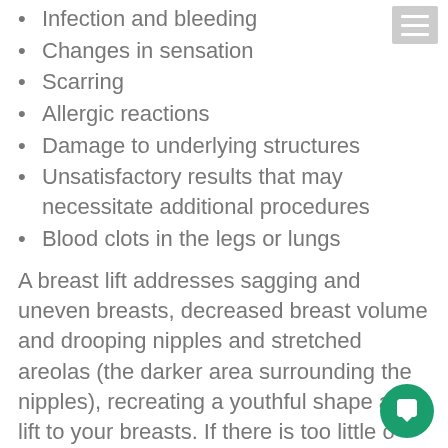Infection and bleeding
Changes in sensation
Scarring
Allergic reactions
Damage to underlying structures
Unsatisfactory results that may necessitate additional procedures
Blood clots in the legs or lungs
A breast lift addresses sagging and uneven breasts, decreased breast volume and drooping nipples and stretched areolas (the darker area surrounding the nipples), recreating a youthful shape and lift to your breasts. If there is too little or too much breast volume, a breast